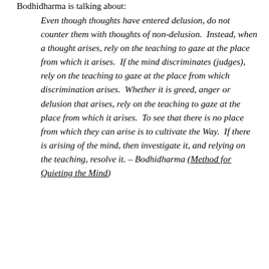Bodhidharma is talking about:
Even though thoughts have entered delusion, do not counter them with thoughts of non-delusion. Instead, when a thought arises, rely on the teaching to gaze at the place from which it arises. If the mind discriminates (judges), rely on the teaching to gaze at the place from which discrimination arises. Whether it is greed, anger or delusion that arises, rely on the teaching to gaze at the place from which it arises. To see that there is no place from which they can arise is to cultivate the Way. If there is arising of the mind, then investigate it, and relying on the teaching, resolve it. – Bodhidharma (Method for Quieting the Mind)